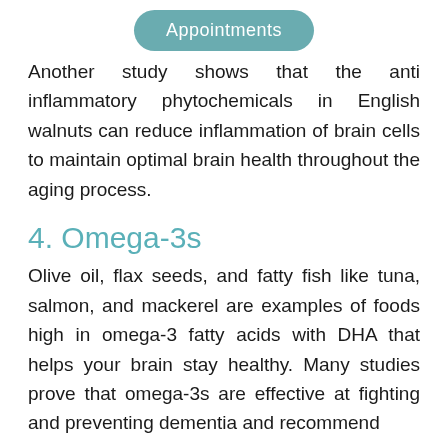[Figure (other): Teal rounded button labeled 'Appointments']
Another study shows that the anti inflammatory phytochemicals in English walnuts can reduce inflammation of brain cells to maintain optimal brain health throughout the aging process.
4. Omega-3s
Olive oil, flax seeds, and fatty fish like tuna, salmon, and mackerel are examples of foods high in omega-3 fatty acids with DHA that helps your brain stay healthy. Many studies prove that omega-3s are effective at fighting and preventing dementia and recommend